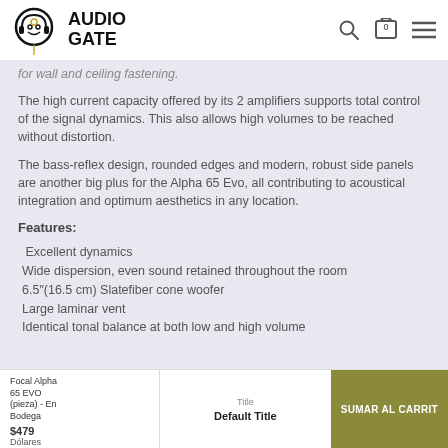AudioGate logo and navigation header
for wall and ceiling fastening.
The high current capacity offered by its 2 amplifiers supports total control of the signal dynamics. This also allows high volumes to be reached without distortion.
The bass-reflex design, rounded edges and modern, robust side panels are another big plus for the Alpha 65 Evo, all contributing to acoustical integration and optimum aesthetics in any location.
Features:
Excellent dynamics
Wide dispersion, even sound retained throughout the room
6.5"(16.5 cm) Slatefiber cone woofer
Large laminar vent
Identical tonal balance at both low and high volume
Focal Alpha 65 EVO (pieza) - En Bodega $479 Dólares | Title: Default Title | SUMAR AL CARRIT